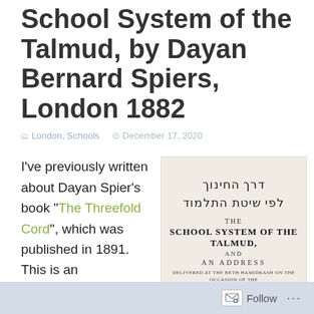School System of the Talmud, by Dayan Bernard Spiers, London 1882
London, Schools   December 17, 2020
I've previously written about Dayan Spier's book "The Threefold Cord", which was published in 1891.  This is an
[Figure (photo): Title page of a book showing Hebrew text at top (דרך החינוך לפי שיטת התלמוד), followed by English text: THE SCHOOL SYSTEM OF THE TALMUD, AND AN ADDRESS, DELIVERED AT THE BETH HAMIDRASH ON THE OCCASION OF THE CONCLUSION OF THE TALMUDICAL TREATISE,]
Follow ...